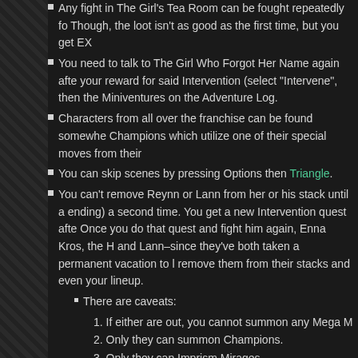Any fight in The Girl's Tea Room can be fought repeatedly for... Though, the loot isn't as good as the first time, but you get EX
You need to talk to The Girl Who Forgot Her Name again afte... your reward for said Intervention (select "Intervene", then the... Miniventures on the Adventure Log.
Characters from all over the franchise can be found somewhere... Champions which utilize one of their special moves from their...
You can skip scenes by pressing Options then Triangle.
You can't remove Reynn or Lann from her or his stack until a... ending) a second time. You get a new Intervention quest afte... Once you do that quest and fight him again, Enna Kros, the H... and Lann–since they've both taken a permanent vacation to l... remove them from their stacks and even your lineup.
There are caveats:
1. If either are out, you cannot summon any Mega M...
2. Only they can summon Champions.
3. Only they can Imprism Mirages.
4. Their respective Mirajewels will not be active.
Your HP increases as you level up, but your AP does not.
You cannot summon a Mega Mirage when you're Unstacked.
You can stack the same S Mirage on both Lilikin and Jiant fo...